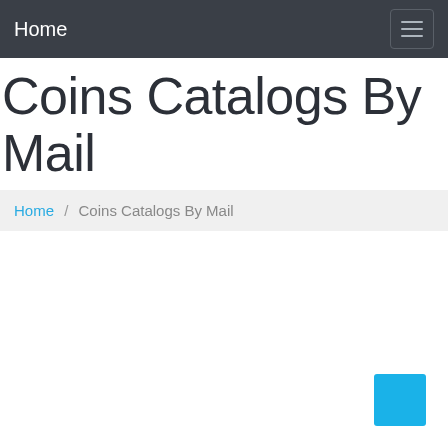Home
Coins Catalogs By Mail
Home / Coins Catalogs By Mail